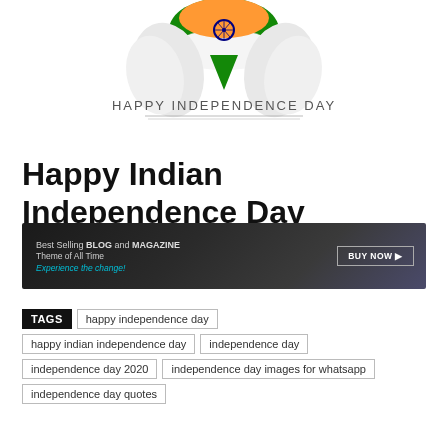[Figure (illustration): Indian Independence Day graphic with Indian flag colors (saffron, white, green) and 'HAPPY INDEPENDENCE DAY' text with decorative lines, showing hands holding a flag design with Ashoka Chakra]
Happy Indian Independence Day
[Figure (infographic): Dark advertisement banner: 'Best Selling BLOG and MAGAZINE Theme of All Time / Experience the change!' with a 'BUY NOW' button on the right]
TAGS
happy independence day
happy indian independence day
independence day
independence day 2020
independence day images for whatsapp
independence day quotes